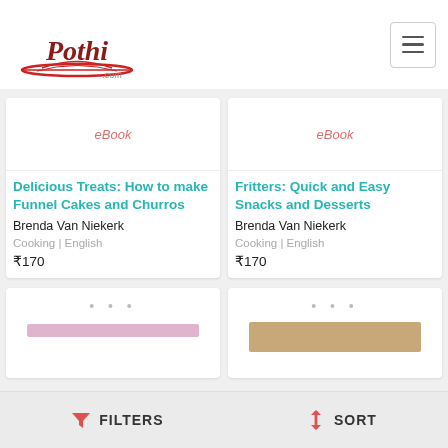Pothi.com
[Figure (illustration): eBook placeholder card for Delicious Treats]
Delicious Treats: How to make Funnel Cakes and Churros
Brenda Van Niekerk
Cooking | English
₹170
[Figure (illustration): eBook placeholder card for Fritters]
Fritters: Quick and Easy Snacks and Desserts
Brenda Van Niekerk
Cooking | English
₹170
[Figure (illustration): Loading book card with pink bar - left column]
[Figure (photo): Loading book card with food thumbnail - right column]
FILTERS   SORT